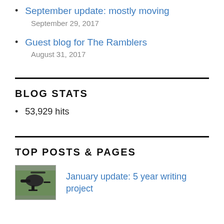September update: mostly moving
September 29, 2017
Guest blog for The Ramblers
August 31, 2017
BLOG STATS
53,929 hits
TOP POSTS & PAGES
[Figure (photo): Thumbnail image showing a dark helicopter silhouette against a green background]
January update: 5 year writing project